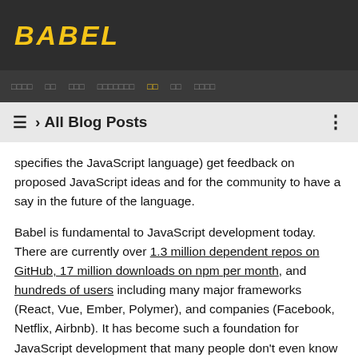BABEL
블로그 포스트  블로그  블로그 포스트  복잡한 내용이  블로그  블로그  블로그 포스트
≡ › All Blog Posts
specifies the JavaScript language) get feedback on proposed JavaScript ideas and for the community to have a say in the future of the language.
Babel is fundamental to JavaScript development today. There are currently over 1.3 million dependent repos on GitHub, 17 million downloads on npm per month, and hundreds of users including many major frameworks (React, Vue, Ember, Polymer), and companies (Facebook, Netflix, Airbnb). It has become such a foundation for JavaScript development that many people don't even know that it is being used. Even if you aren't using it yourself, it's highly likely your dependencies are